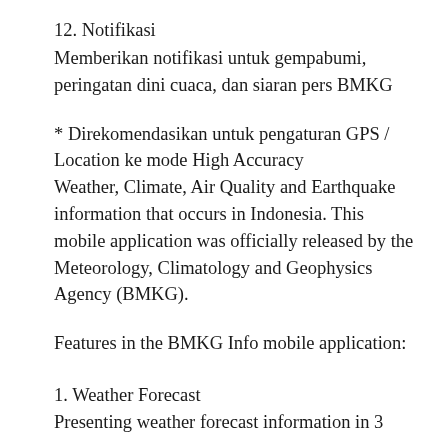12. Notifikasi
Memberikan notifikasi untuk gempabumi, peringatan dini cuaca, dan siaran pers BMKG
* Direkomendasikan untuk pengaturan GPS / Location ke mode High Accuracy
Weather, Climate, Air Quality and Earthquake information that occurs in Indonesia. This mobile application was officially released by the Meteorology, Climatology and Geophysics Agency (BMKG).
Features in the BMKG Info mobile application:
1. Weather Forecast
Presenting weather forecast information in 3...